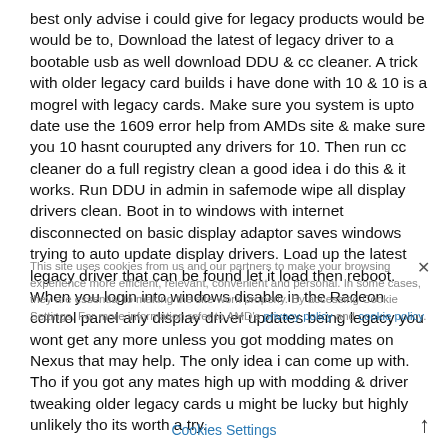best only advise i could give for legacy products would be would be to, Download the latest of legacy driver to a bootable usb as well download DDU & cc cleaner. A trick with older legacy card builds i have done with 10 & 10 is a mogrel with legacy cards. Make sure you system is upto date use the 1609 error help from AMDs site & make sure you 10 hasnt courupted any drivers for 10. Then run cc cleaner do a full registry clean a good idea i do this & it works. Run DDU in admin in safemode wipe all display drivers clean. Boot in to windows with internet disconnected on basic display adaptor saves windows trying to auto update display drivers. Load up the latest legacy driver that can be found let it load then reboot. When you login into windows disable in the Radeon control panel any display driver updates being legacy you wont get any more unless you got modding mates on Nexus that may help. The only idea i can come up with. Tho if you got any mates high up with modding & driver tweaking older legacy cards u might be lucky but highly unlikely tho its worth a try.
This site uses cookies from us and our partners to make your browsing experience more efficient, relevant, convenient and personal. In some cases, they are essential to making the site work properly. By accessing Cookie Settings. For more information refer to AMD's privacy policy and cookie policy.